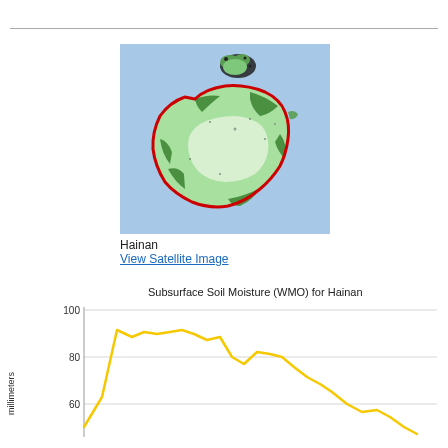[Figure (map): Satellite vegetation/soil map of Hainan island, China. Shows island outline with red border, light green interior indicating vegetation/soil moisture, darker green areas, white central region, set against light blue ocean background. Small island visible in upper portion.]
Hainan
View Satellite Image
[Figure (line-chart): Line chart showing subsurface soil moisture (WMO) for Hainan over time. Yellow line starts around 50, rises sharply to ~88, fluctuates between 82-90, then drops through 75, rises slightly to ~82, then declines to ~60 and continues downward toward 40 at bottom right. Y-axis shows values 60, 80, 100. X-axis shows time series.]